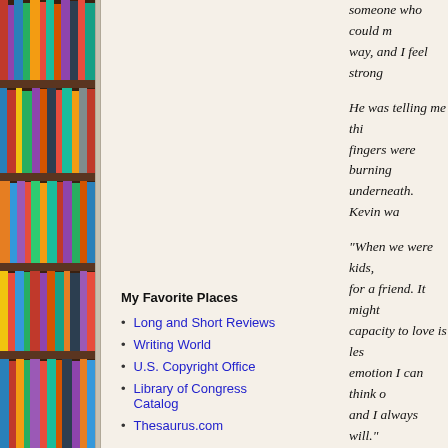[Figure (photo): Photograph of bookshelves with colorful books arranged on wooden shelves, forming the left column of the page layout.]
My Favorite Places
Long and Short Reviews
Writing World
U.S. Copyright Office
Library of Congress Catalog
Thesaurus.com
someone who could m... way, and I feel strong...
He was telling me thi... fingers were burning... underneath. Kevin wa...
"When we were kids, for a friend. It might ... capacity to love is les... emotion I can think o... and I always will."
Kevin then leaned an... permanent than the e...
"Philia, baby, is also ... presence. With you, I ... much pain internally,...
Then Kevin took my f... young boy of my child...